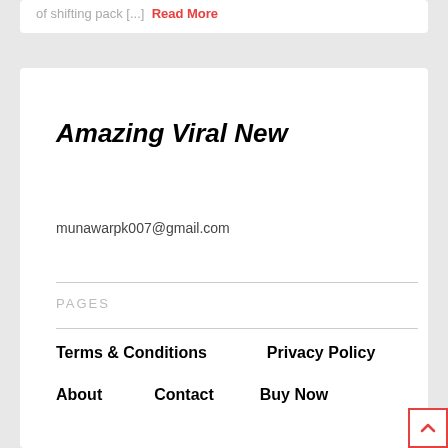of shifting pack [...] Read More
Amazing Viral New
munawarpk007@gmail.com
PAGES
Terms & Conditions
Privacy Policy
About
Contact
Buy Now